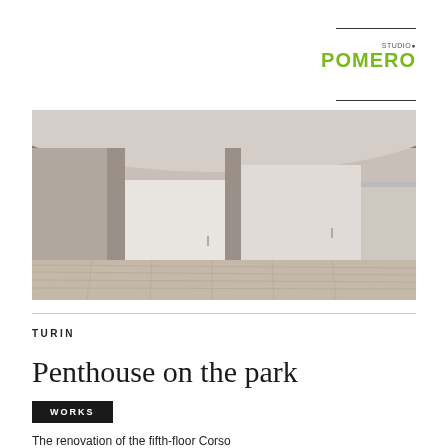[Figure (logo): Studio Pomero logo with 'STUDIO' in small grey text and 'POMERO' in large bold green text]
[Figure (photo): Interior photograph of a renovated penthouse room with white walls, light wood flooring, structural columns, and floor-to-ceiling panels/doors]
TURIN
Penthouse on the park
WORKS
The renovation of the fifth-floor Corso